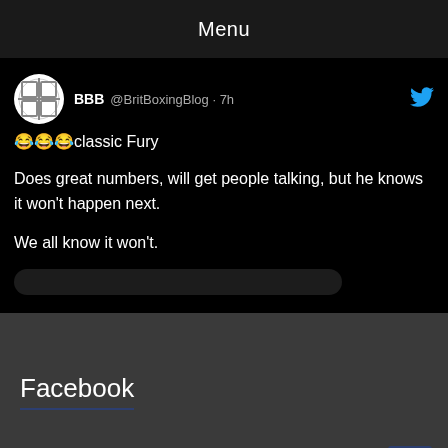Menu
[Figure (screenshot): Tweet from @BritBoxingBlog (BBB) posted 7h ago with laughing emojis and text: 'classic Fury. Does great numbers, will get people talking, but he knows it won't happen next. We all know it won't.']
Facebook
Instagram